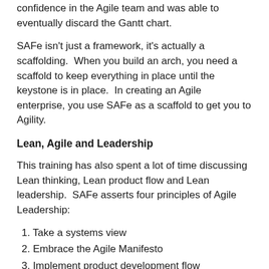confidence in the Agile team and was able to eventually discard the Gantt chart.
SAFe isn't just a framework, it's actually a scaffolding. When you build an arch, you need a scaffold to keep everything in place until the keystone is in place. In creating an Agile enterprise, you use SAFe as a scaffold to get you to Agility.
Lean, Agile and Leadership
This training has also spent a lot of time discussing Lean thinking, Lean product flow and Lean leadership. SAFe asserts four principles of Agile Leadership:
1. Take a systems view
2. Embrace the Agile Manifesto
3. Implement product development flow
4. Unlock the intrinsic motivation of knowledge workers